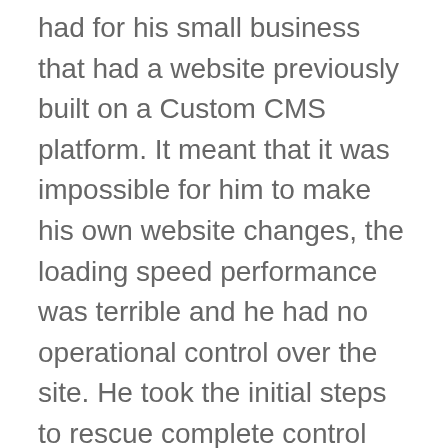had for his small business that had a website previously built on a Custom CMS platform. It meant that it was impossible for him to make his own website changes, the loading speed performance was terrible and he had no operational control over the site. He took the initial steps to rescue complete control over his site by getting access to his Domain Name and Hosting service, luckily his original website was built on WordPress and a backup was available.
Creating a staging site for website development.
The first step of this website development